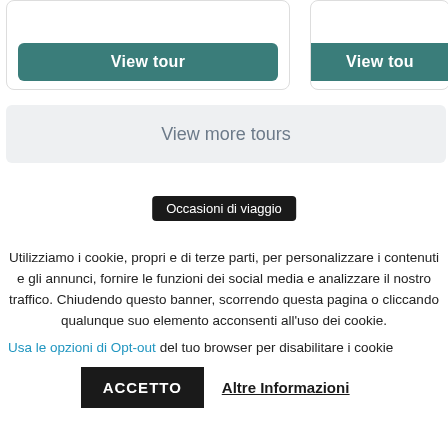[Figure (screenshot): Two card panels each showing a 'View tour' button in teal/dark-cyan color. Left card is fully visible; right card is partially cropped.]
View more tours
Occasioni di viaggio
Utilizziamo i cookie, propri e di terze parti, per personalizzare i contenuti e gli annunci, fornire le funzioni dei social media e analizzare il nostro traffico. Chiudendo questo banner, scorrendo questa pagina o cliccando qualunque suo elemento acconsenti all'uso dei cookie.
Usa le opzioni di Opt-out del tuo browser per disabilitare i cookie
ACCETTO
Altre Informazioni